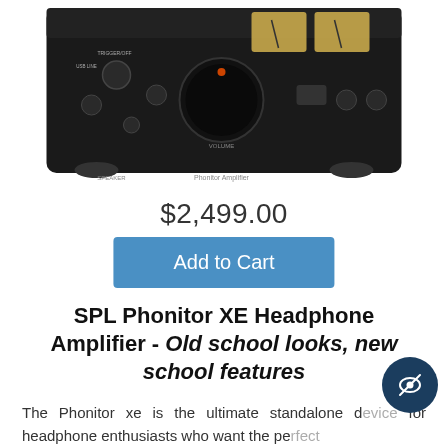[Figure (photo): SPL Phonitor XE headphone amplifier device, black unit with knobs, VU meters, and various controls, shown from front angle]
$2,499.00
Add to Cart
SPL Phonitor XE Headphone Amplifier - Old school looks, new school features
The Phonitor xe is the ultimate standalone device for headphone enthusiasts who want the perfect